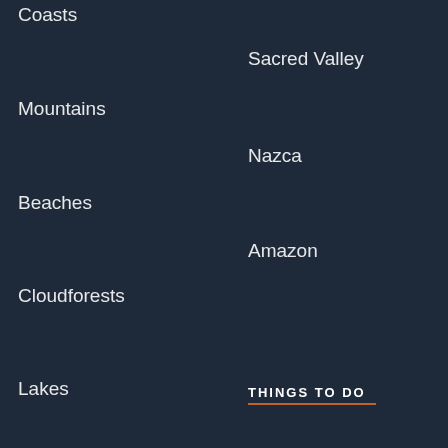Coasts
Sacred Valley
Mountains
Nazca
Beaches
Amazon
Cloudforests
THINGS TO DO
Lakes
Culture
Surfing
Get a Guide
Spiritual
Ruins
Culinary
Archeology
Culinary
Train Rides
Hiking